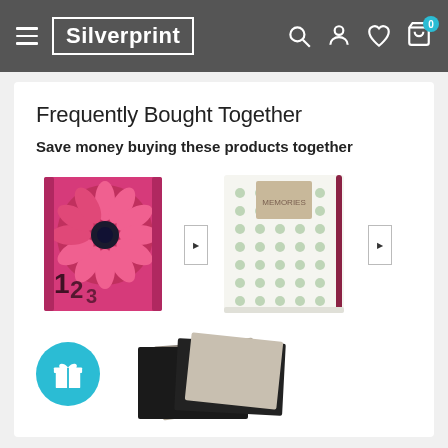Silverprint — navigation header with menu, search, account, wishlist, cart (0)
Frequently Bought Together
Save money buying these products together
[Figure (photo): Pink floral photo album with number decorations]
[Figure (photo): White patterned notebook/journal with elastic band closure]
[Figure (photo): Stack of black and beige scrapbook/photo album pages]
[Figure (illustration): Blue circle with gift/present icon]